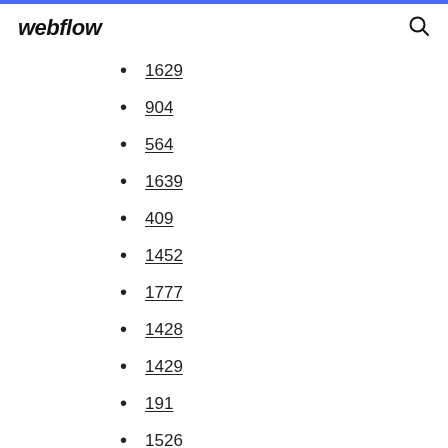webflow
1629
904
564
1639
409
1452
1777
1428
1429
191
1526
1419